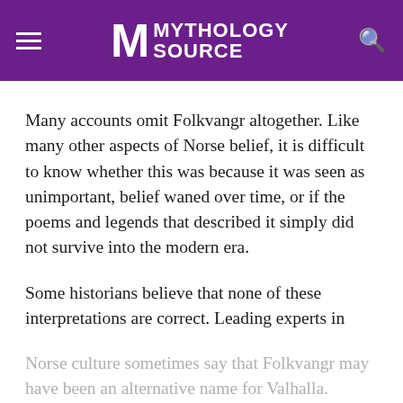MYTHOLOGY SOURCE
Many accounts omit Folkvangr altogether. Like many other aspects of Norse belief, it is difficult to know whether this was because it was seen as unimportant, belief waned over time, or if the poems and legends that described it simply did not survive into the modern era.
Some historians believe that none of these interpretations are correct. Leading experts in Norse culture sometimes say that Folkvangr may have been an alternative name for Valhalla.